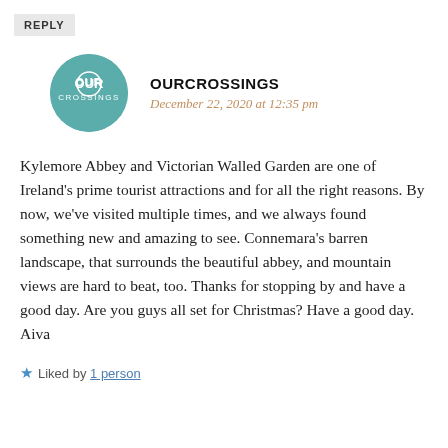REPLY
[Figure (logo): OurCrossings circular teal logo with text OUR CROSSINGS]
OURCROSSINGS
December 22, 2020 at 12:35 pm
Kylemore Abbey and Victorian Walled Garden are one of Ireland's prime tourist attractions and for all the right reasons. By now, we've visited multiple times, and we always found something new and amazing to see. Connemara's barren landscape, that surrounds the beautiful abbey, and mountain views are hard to beat, too. Thanks for stopping by and have a good day. Are you guys all set for Christmas? Have a good day. Aiva
Liked by 1 person